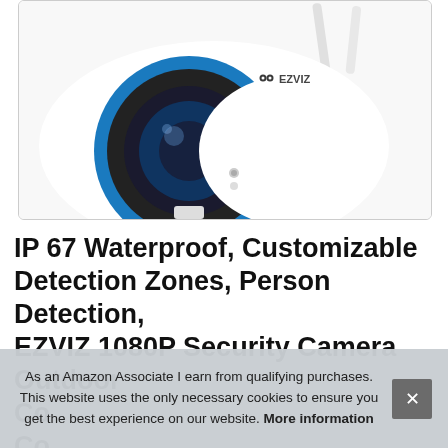[Figure (photo): EZVIZ outdoor security camera, white with blue ring accent, showing large camera lens and two antennas. EZVIZ logo visible on the body.]
IP 67 Waterproof, Customizable Detection Zones, Person Detection, EZVIZ 1080P Security Camera Outdoor Co... Co... Go...
As an Amazon Associate I earn from qualifying purchases. This website uses the only necessary cookies to ensure you get the best experience on our website. More information